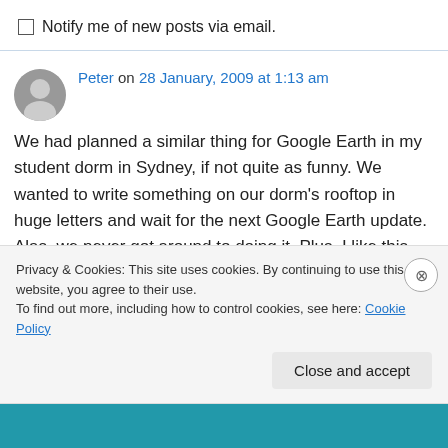Notify me of new posts via email.
Peter on 28 January, 2009 at 1:13 am

We had planned a similar thing for Google Earth in my student dorm in Sydney, if not quite as funny. We wanted to write something on our dorm's rooftop in huge letters and wait for the next Google Earth update. Alas, we never got around to doing it. Plus, I like this version here much better!
Privacy & Cookies: This site uses cookies. By continuing to use this website, you agree to their use.
To find out more, including how to control cookies, see here: Cookie Policy
Close and accept